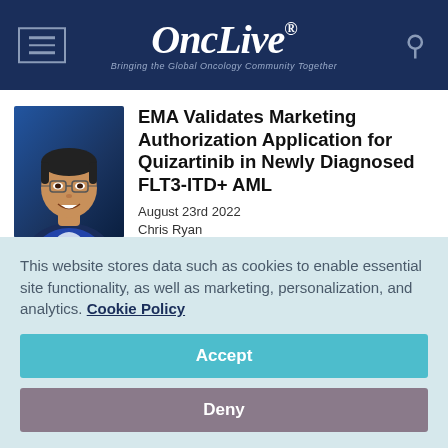OncLive® — Bringing the Global Oncology Community Together
[Figure (photo): Headshot of an Asian man wearing glasses and a navy suit jacket, smiling, against a blue background]
EMA Validates Marketing Authorization Application for Quizartinib in Newly Diagnosed FLT3-ITD+ AML
August 23rd 2022
Chris Ryan
The European Medicines Agency has validated the marketing authorization
This website stores data such as cookies to enable essential site functionality, as well as marketing, personalization, and analytics. Cookie Policy
Accept
Deny